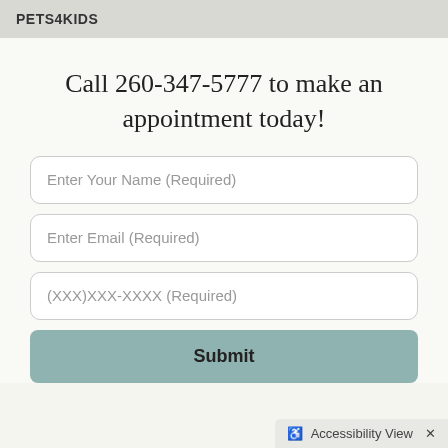PETS4KIDS
Call 260-347-5777 to make an appointment today!
Enter Your Name (Required)
Enter Email (Required)
(XXX)XXX-XXXX (Required)
Submit
Accessibility View